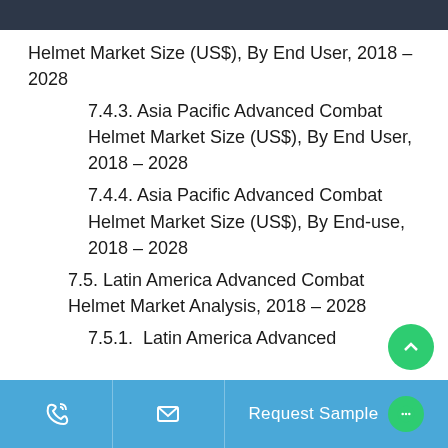Helmet Market Size (US$), By End User, 2018 – 2028
7.4.3. Asia Pacific Advanced Combat Helmet Market Size (US$), By End User, 2018 – 2028
7.4.4. Asia Pacific Advanced Combat Helmet Market Size (US$), By End-use, 2018 – 2028
7.5. Latin America Advanced Combat Helmet Market Analysis, 2018 – 2028
7.5.1.  Latin America Advanced